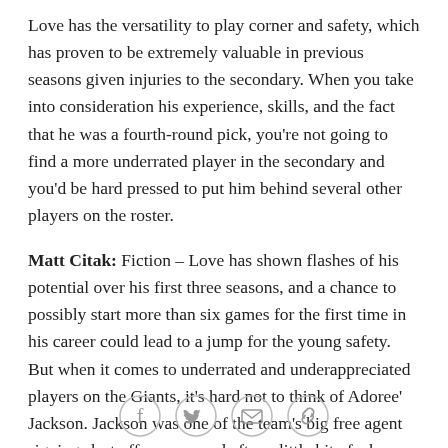Love has the versatility to play corner and safety, which has proven to be extremely valuable in previous seasons given injuries to the secondary. When you take into consideration his experience, skills, and the fact that he was a fourth-round pick, you're not going to find a more underrated player in the secondary and you'd be hard pressed to put him behind several other players on the roster.
Matt Citak: Fiction – Love has shown flashes of his potential over his first three seasons, and a chance to possibly start more than six games for the first time in his career could lead to a jump for the young safety. But when it comes to underrated and underappreciated players on the Giants, it's hard not to think of Adoree' Jackson. Jackson was one of the team's big free agent signings last off-season, and after a little bit of a bumpy
[Figure (other): Social sharing icons: Facebook, Twitter, Email, Link]